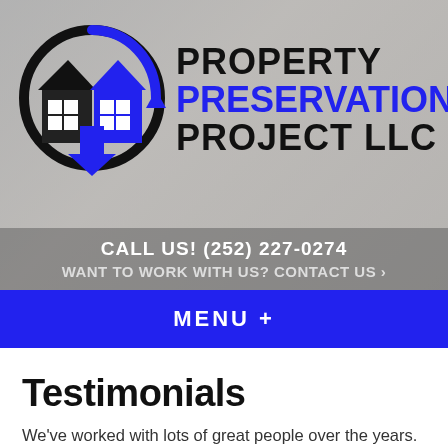[Figure (logo): Property Preservation Project LLC logo with house icon inside a circle with blue arrow, and company name text]
CALL US! (252) 227-0274
WANT TO WORK WITH US? CONTACT US ›
MENU +
Testimonials
We've worked with lots of great people over the years. Here's what just a few have had to say about Property Preservation Project LLC.